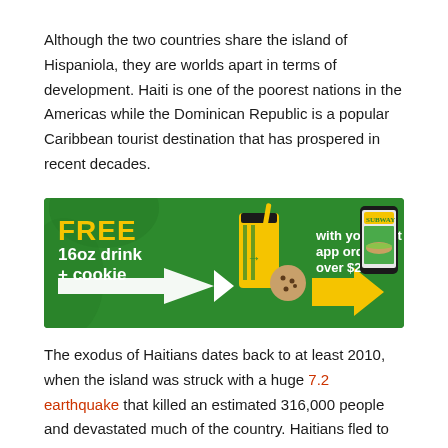Although the two countries share the island of Hispaniola, they are worlds apart in terms of development. Haiti is one of the poorest nations in the Americas while the Dominican Republic is a popular Caribbean tourist destination that has prospered in recent decades.
[Figure (other): Subway advertisement banner: FREE 16oz drink + cookie with your first app order over $20, showing Subway cup, cookie, and a hand holding a phone with the Subway app.]
The exodus of Haitians dates back to at least 2010, when the island was struck with a huge 7.2 earthquake that killed an estimated 316,000 people and devastated much of the country. Haitians fled to the United States, Chile, Brazil and, in recent months, Mexico, in search of safety and work opportunities.